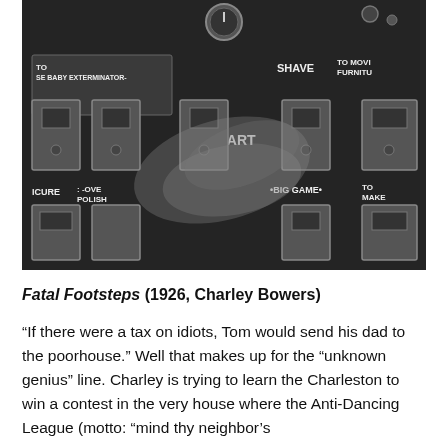[Figure (photo): Black and white photograph of a control panel or machine with multiple switches, knobs, and labels. Visible text labels on the panel include: 'TO SE BABY EXTERMINATOR', 'SHAVE', 'TO MOVI FURNITU', 'START', 'ICURE', ':-OVE POLISH', 'BIG GAME', 'TO MAKE BEDS'. A blurred hand or foot is visible moving across the panel.]
Fatal Footsteps (1926, Charley Bowers)
“If there were a tax on idiots, Tom would send his dad to the poorhouse.” Well that makes up for the “unknown genius” line. Charley is trying to learn the Charleston to win a contest in the very house where the Anti-Dancing League (motto: “mind thy neighbor’s